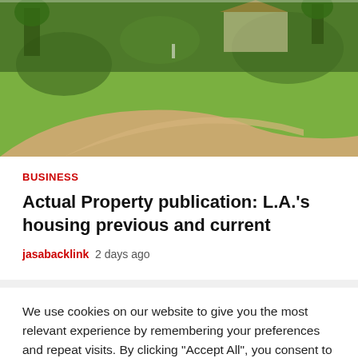[Figure (photo): Aerial or wide-angle photo of a green residential lawn with a curved driveway/path, trees and shrubs in the background, and a house partially visible.]
BUSINESS
Actual Property publication: L.A.'s housing previous and current
jasabacklink  2 days ago
We use cookies on our website to give you the most relevant experience by remembering your preferences and repeat visits. By clicking "Accept All", you consent to the use of ALL the cookies. However, you may visit "Cookie Settings" to provide a controlled consent.